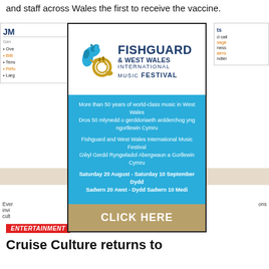and staff across Wales the first to receive the vaccine.
[Figure (infographic): Fishguard & West Wales International Music Festival advertisement overlay. White background with festival logo (decorative blue splash/waves with French horn in gold), blue section with bilingual text (English and Welsh) and dates, gold section with CLICK HERE call to action. Close button (X) in top right corner.]
More than 50 years of world-class music in West Wales
Dros 50 mlynedd o gerddoriaeth ardderchog yng ngorllewin Cymru

Fishguard and West Wales International Music Festival
Gŵyl Gerdd Ryngwladol Abergwaun a Gorllewin Cymru

Saturday 20 August - Saturday 10 September Dydd Sadwrn 20 Awst - Dydd Sadwrn 10 Medi

CLICK HERE
ENTERTAINMENT
Cruise Culture returns to